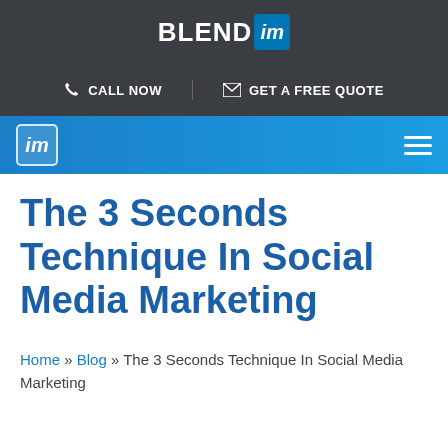[Figure (logo): BLEND im logo with white BLEND text and blue 'im' box in dark grey header bar]
CALL NOW   GET A FREE QUOTE
[Figure (logo): Blue navigation bar with 'im' logo icon on left and hamburger menu icon on right]
The 3 Seconds Technique In Social Media Marketing
Home » Blog » The 3 Seconds Technique In Social Media Marketing